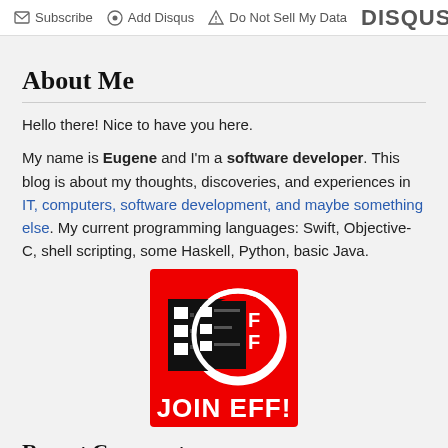Subscribe  Add Disqus  Do Not Sell My Data  DISQUS
About Me
Hello there! Nice to have you here.
My name is Eugene and I'm a software developer. This blog is about my thoughts, discoveries, and experiences in IT, computers, software development, and maybe something else. My current programming languages: Swift, Objective-C, shell scripting, some Haskell, Python, basic Java.
[Figure (logo): JOIN EFF! banner — red background with EFF logo (black rectangle with white squares and the letters E F F in white) inside a white circle, and bold white text saying JOIN EFF! at the bottom]
Recent Comments